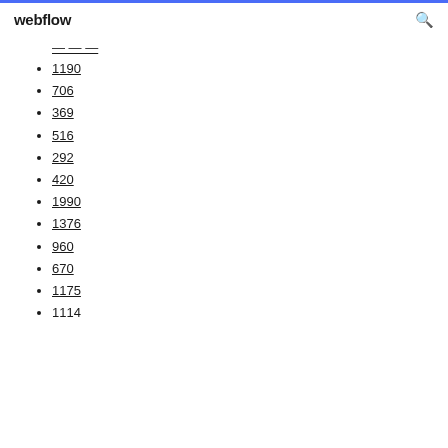webflow
---
1190
706
369
516
292
420
1990
1376
960
670
1175
1114